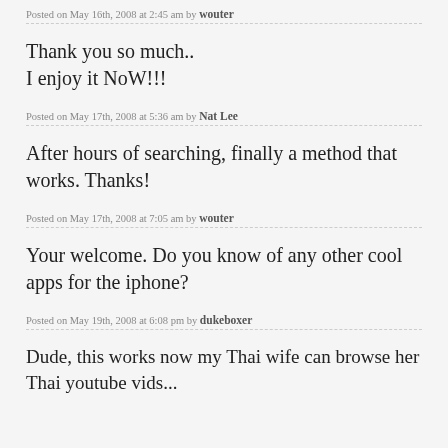Posted on May 16th, 2008 at 2:45 am by wouter
Thank you so much..
I enjoy it NoW!!!
Posted on May 17th, 2008 at 5:36 am by Nat Lee
After hours of searching, finally a method that works. Thanks!
Posted on May 17th, 2008 at 7:05 am by wouter
Your welcome. Do you know of any other cool apps for the iphone?
Posted on May 19th, 2008 at 6:08 pm by dukeboxer
Dude, this works now my Thai wife can browse her Thai youtube vids...